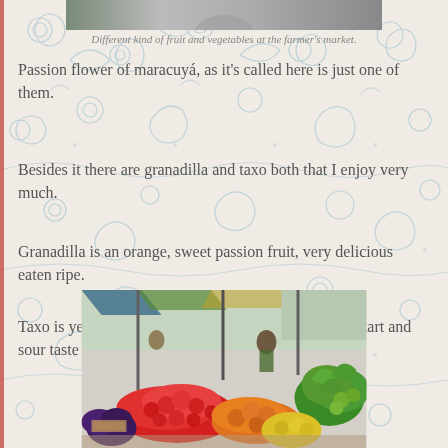[Figure (photo): Partial view of a photo at the top of the page showing people or a market scene]
Different kind of fruit and vegetables at the farmer's market.
Passion flower of maracuyá, as it's called here is just one of them.
Besides it there are granadilla and taxo both that I enjoy very much.
Granadilla is an orange, sweet passion fruit, very delicious eaten ripe.
Taxo is yellow, elongated passion fruit that also has a tart and sour taste and is better in juices.
[Figure (photo): Colorful outdoor farmer's market stall with piles of fresh fruits and vegetables including red tomatoes, oranges, and green vegetables, with vendor and shoppers visible]